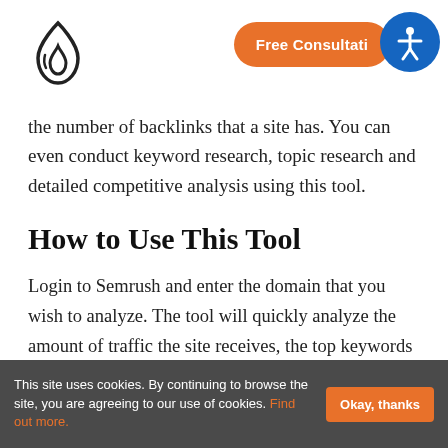[Figure (logo): Semrush-style flame/droplet logo in dark outline]
Free Consultation
the number of backlinks that a site has. You can even conduct keyword research, topic research and detailed competitive analysis using this tool.
How to Use This Tool
Login to Semrush and enter the domain that you wish to analyze. The tool will quickly analyze the amount of traffic the site receives, the top keywords that are sending that traffic, the total number of backlinks along with the referring domains, and the main organic competitors. Semrush also offers a comprehensive
This site uses cookies. By continuing to browse the site, you are agreeing to our use of cookies. Find out more. Okay, thanks